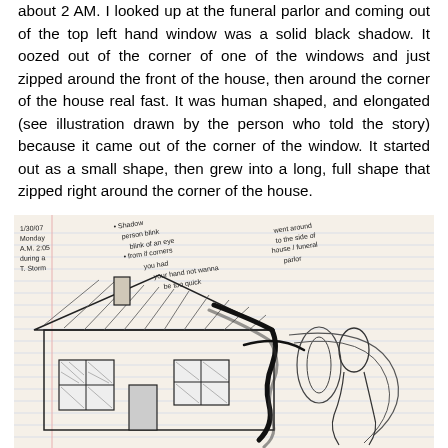about 2 AM. I looked up at the funeral parlor and coming out of the top left hand window was a solid black shadow. It oozed out of the corner of one of the windows and just zipped around the front of the house, then around the corner of the house real fast. It was human shaped, and elongated (see illustration drawn by the person who told the story) because it came out of the corner of the window. It started out as a small shape, then grew into a long, full shape that zipped right around the corner of the house.
[Figure (illustration): Hand-drawn pencil sketch on lined notebook paper showing a small house with a slanted roof, chimney, two windows on the front facade, and a swooping black shadow shape moving around the corner of the house to the right. Handwritten notes appear in the upper portion of the image describing the event: date 1/30/07, Monday, A.M. 2:05, during a T. Storm. Bullet points describe: shadow person blink, blink of an eye, from if corners, your hand had your hand not wanna be too quick, went around to the side of house/funeral parlor.]